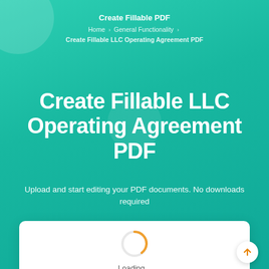Create Fillable PDF
Home › General Functionality › Create Fillable LLC Operating Agreement PDF
Create Fillable LLC Operating Agreement PDF
Upload and start editing your PDF documents. No downloads required
[Figure (illustration): White card with an orange loading spinner and 'Loading...' text below it, representing a loading state of a PDF editor interface]
[Figure (illustration): White circular scroll-to-top button with an upward arrow in orange color, positioned at bottom right]